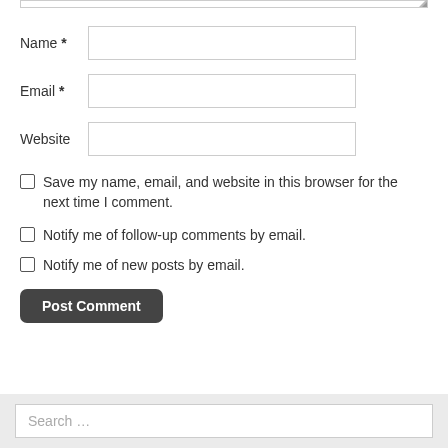[Figure (screenshot): Partial textarea at top of page (cropped, showing only bottom edge with resize handle)]
Name *
Email *
Website
Save my name, email, and website in this browser for the next time I comment.
Notify me of follow-up comments by email.
Notify me of new posts by email.
Post Comment
Search …